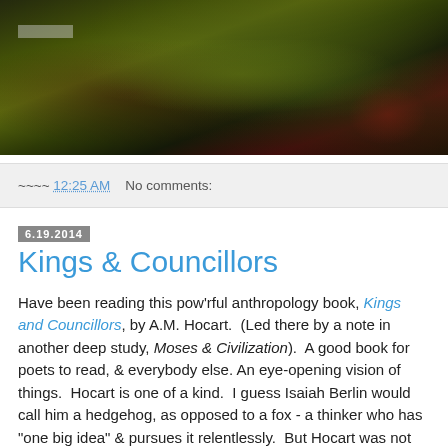[Figure (photo): Dark photograph showing hands or a person in green/yellow clothing, appears to be playing or holding an instrument, dark background with green and red tones]
~~~~ 12:25 AM   No comments:
6.19.2014
Kings & Councillors
Have been reading this pow'rful anthropology book, Kings and Councillors, by A.M. Hocart.  (Led there by a note in another deep study, Moses & Civilization).  A good book for poets to read, & everybody else. An eye-opening vision of things.  Hocart is one of a kind.  I guess Isaiah Berlin would call him a hedgehog, as opposed to a fox - a thinker who has "one big idea" & pursues it relentlessly.  But Hocart was not just an idea man.  A veteran of 4 years on the Western Front